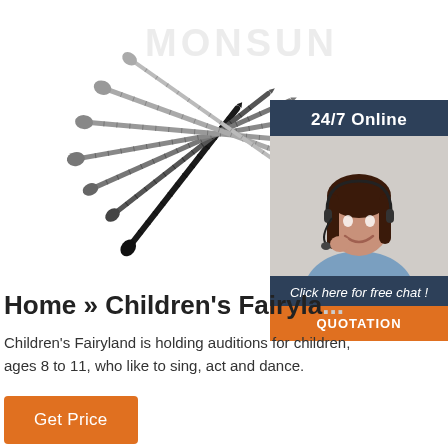[Figure (photo): Fan arrangement of multiple screws (black and grey/silver) spread out against a white background, with MONSUN watermark text overlay]
[Figure (infographic): Sidebar panel with dark navy background showing '24/7 Online' text, a woman with headset smiling, 'Click here for free chat!' italic text, and an orange 'QUOTATION' button]
Home » Children's Fairyla...
Children's Fairyland is holding auditions for children, ages 8 to 11, who like to sing, act and dance.
Get Price